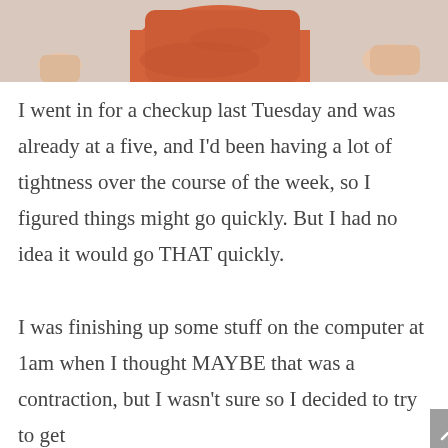[Figure (photo): Cropped photo showing a person wearing a red/orange outfit, partially visible from torso down, seated or standing near a surface. Another person's hand is visible at the right edge.]
I went in for a checkup last Tuesday and was already at a five, and I'd been having a lot of tightness over the course of the week, so I figured things might go quickly. But I had no idea it would go THAT quickly.

I was finishing up some stuff on the computer at 1am when I thought MAYBE that was a contraction, but I wasn't sure so I decided to try to get